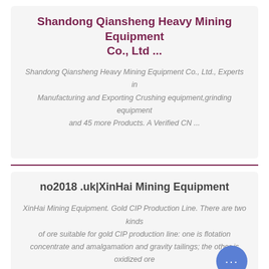Shandong Qiansheng Heavy Mining Equipment Co., Ltd ...
Shandong Qiansheng Heavy Mining Equipment Co., Ltd., Experts in Manufacturing and Exporting Crushing equipment,grinding equipment and 45 more Products. A Verified CN ...
no2018 .uk|XinHai Mining Equipment
XinHai Mining Equipment. Gold CIP Production Line. There are two kinds of ore suitable for gold CIP production line: one is flotation concentrate and amalgamation and gravity tailings; the other is oxidized ore